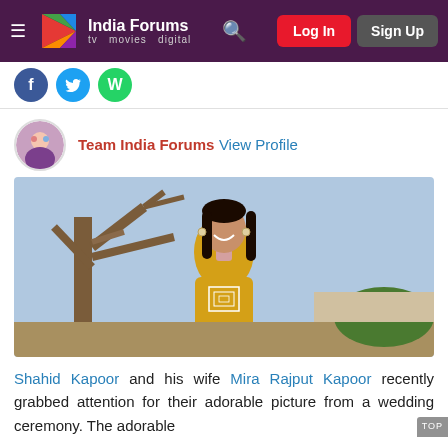India Forums — tv movies digital | Log In | Sign Up
Team India Forums View Profile
[Figure (photo): Photo of Mira Rajput Kapoor standing outdoors in a yellow printed kurti, smiling, with trees in the background]
Shahid Kapoor and his wife Mira Rajput Kapoor recently grabbed attention for their adorable picture from a wedding ceremony. The adorable